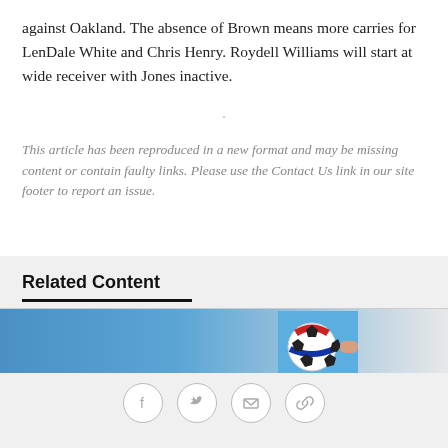against Oakland. The absence of Brown means more carries for LenDale White and Chris Henry. Roydell Williams will start at wide receiver with Jones inactive.
.
This article has been reproduced in a new format and may be missing content or contain faulty links. Please use the Contact Us link in our site footer to report an issue.
Related Content
[Figure (photo): Related content image showing a soccer ball and player on a blue background]
[Figure (infographic): Social share icons: Facebook, Twitter, Email, Link]